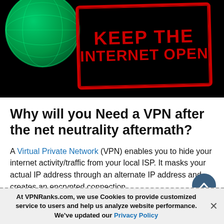[Figure (illustration): Dark black background image with a green globe/wireframe on the left and a red stamp-style border rectangle on the right reading 'KEEP THE INTERNET OPEN' in bold red capital letters.]
Why will you Need a VPN after the net neutrality aftermath?
A Virtual Private Network (VPN) enables you to hide your internet activity/traffic from your local ISP. It masks your actual IP address through an alternate IP address and creates an encrypted connection.
At VPNRanks.com, we use Cookies to provide customized service to users and help us analyze website performance. We've updated our Privacy Policy